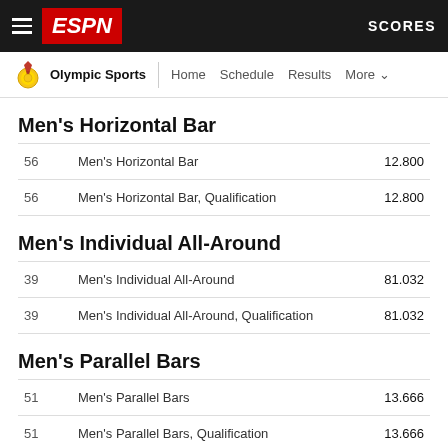ESPN | SCORES
Olympic Sports | Home | Schedule | Results | More
Men's Horizontal Bar
| # | Event | Score |
| --- | --- | --- |
| 56 | Men's Horizontal Bar | 12.800 |
| 56 | Men's Horizontal Bar, Qualification | 12.800 |
Men's Individual All-Around
| # | Event | Score |
| --- | --- | --- |
| 39 | Men's Individual All-Around | 81.032 |
| 39 | Men's Individual All-Around, Qualification | 81.032 |
Men's Parallel Bars
| # | Event | Score |
| --- | --- | --- |
| 51 | Men's Parallel Bars | 13.666 |
| 51 | Men's Parallel Bars, Qualification | 13.666 |